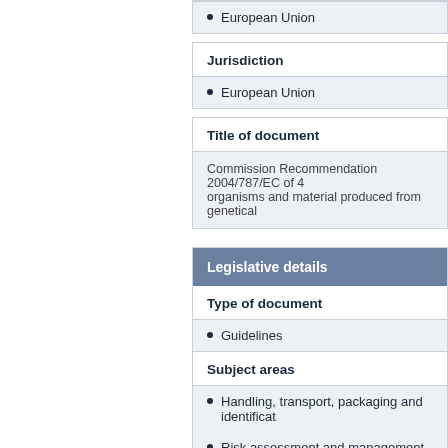European Union
Jurisdiction
European Union
Title of document
Commission Recommendation 2004/787/EC of 4 organisms and material produced from genetical
Legislative details
Type of document
Guidelines
Subject areas
Handling, transport, packaging and identificat
Risk assessment and management
Transboundary movement (import/export)